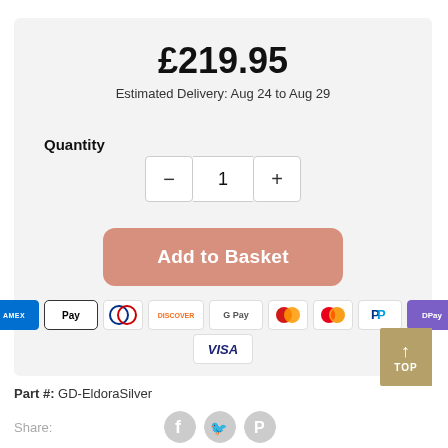£219.95
Estimated Delivery: Aug 24 to Aug 29
Quantity
[Figure (other): Quantity selector with minus button, value 1, and plus button]
[Figure (other): Add to Basket button (pink/salmon colored rounded rectangle)]
[Figure (other): Payment method icons: American Express, Apple Pay, Diners Club, Discover, Google Pay, Maestro, Mastercard, PayPal, DPay, Visa]
Part #: GD-EldoraSilver
Share:
[Figure (other): Social share icons: Facebook, Twitter, Pinterest]